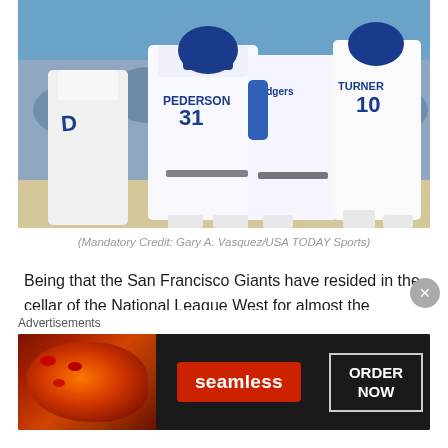[Figure (photo): Los Angeles Dodgers baseball players celebrating on the field. Players visible include #31 Pederson, a player in Dodgers jersey, and #10 Turner (or similar). Players are wearing white Dodgers uniforms, crowd visible in background.]
(Mandatory Credit: Gary A. Vasquez/USA TODAY Sports)
Being that the San Francisco Giants have resided in the cellar of the National League West for almost the entirety of the season, coupled with the fact that they are only a few games away from the Philadelphia
[Figure (other): Advertisement banner for Seamless food ordering service. Shows pizza image on left, Seamless red logo in center, and ORDER NOW button on right.]